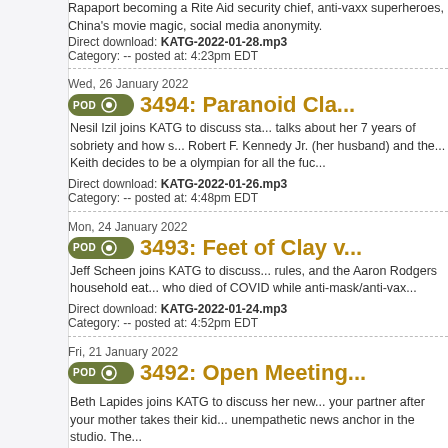Rapaport becoming a Rite Aid security chief, anti-vaxx superheroes, China's movie magic, social media anonymity.
Direct download: KATG-2022-01-28.mp3
Category: -- posted at: 4:23pm EDT
Wed, 26 January 2022
3494: Paranoid Cla...
Nesil Izil joins KATG to discuss sta... talks about her 7 years of sobriety and how s... Robert F. Kennedy Jr. (her husband) and the... Keith decides to be a olympian for all the fuc...
Direct download: KATG-2022-01-26.mp3
Category: -- posted at: 4:48pm EDT
Mon, 24 January 2022
3493: Feet of Clay v...
Jeff Scheen joins KATG to discuss... rules, and the Aaron Rodgers household eat... who died of COVID while anti-mask/anti-vax...
Direct download: KATG-2022-01-24.mp3
Category: -- posted at: 4:52pm EDT
Fri, 21 January 2022
3492: Open Meeting...
Beth Lapides joins KATG to discuss her new... your partner after your mother takes their kid... unempathetic news anchor in the studio. The...
Direct download: KATG-2022-01-21.mp3
Category: general -- posted at: 5:03pm EDT